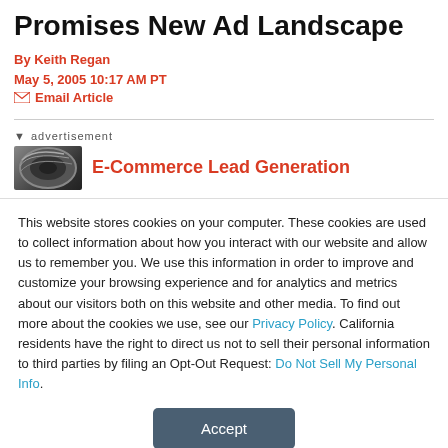Promises New Ad Landscape
By Keith Regan
May 5, 2005 10:17 AM PT
✉ Email Article
[Figure (other): Advertisement banner showing a tire image and E-Commerce Lead Generation text]
This website stores cookies on your computer. These cookies are used to collect information about how you interact with our website and allow us to remember you. We use this information in order to improve and customize your browsing experience and for analytics and metrics about our visitors both on this website and other media. To find out more about the cookies we use, see our Privacy Policy. California residents have the right to direct us not to sell their personal information to third parties by filing an Opt-Out Request: Do Not Sell My Personal Info.
Accept